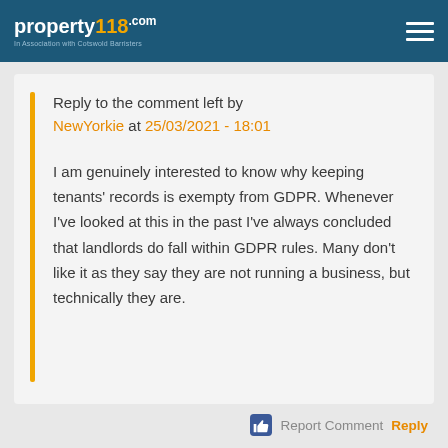property118.com — In Association with Cotswold Barristers
Reply to the comment left by NewYorkie at 25/03/2021 - 18:01
I am genuinely interested to know why keeping tenants' records is exempty from GDPR. Whenever I've looked at this in the past I've always concluded that landlords do fall within GDPR rules. Many don't like it as they say they are not running a business, but technically they are.
Report Comment Reply